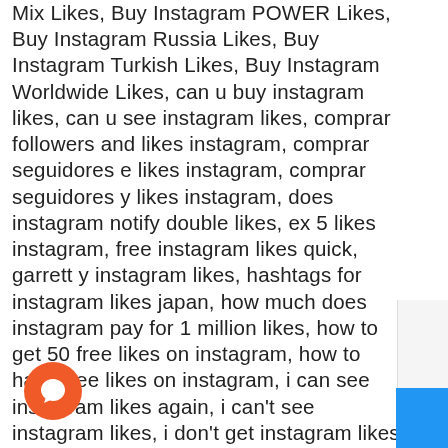Mix Likes, Buy Instagram POWER Likes, Buy Instagram Russia Likes, Buy Instagram Turkish Likes, Buy Instagram Worldwide Likes, can u buy instagram likes, can u see instagram likes, comprar followers and likes instagram, comprar seguidores e likes instagram, comprar seguidores y likes instagram, does instagram notify double likes, ex 5 likes instagram, free instagram likes quick, garrett y instagram likes, hashtags for instagram likes japan, how much does instagram pay for 1 million likes, how to get 50 free likes on instagram, how to have free likes on instagram, i can see instagram likes again, i can't see instagram likes, i don't get instagram likes anymore, i get instagram likes, i likes instagram, i still see instagram likes, instagram 0 likes, instagram 1 million likes record, instagram 1k likes hashtags, instagram 2 likes, instagram 50 likes trial, instagram 500 likes apk, instagram 500 likes free, instagram 500 likes hashtags, instagram for likes apk, instagram for likes app, instagram for likes free, instagram for likes hashtags, instagram hashtags for quick likes, instagram hide your likes, instagram jake likes onions, instagram last 8 likes, instagram like logo, instagram likes $1, instagram likes 0.0, instagram likes 1 euro, instagram likes 1.99, instagram likes 100, instagram likes 100 cheap, instagram likes 1000, instagram likes 1000 free, instagram likes 1k,